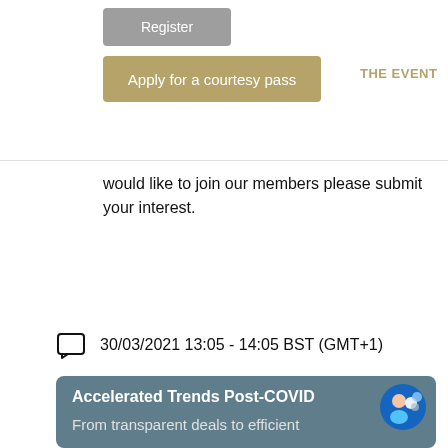[Figure (screenshot): Navigation bar with Register button (grey) and Apply for a courtesy pass button (gold/tan), and nav links THE EVENT and DISCUSSI(ON) on the right]
would like to join our members please submit your interest.
30/03/2021 13:05 - 14:05 BST (GMT+1)
[Figure (screenshot): Event card with dark teal background showing title Accelerated Trends Post-COVID and subtitle From transparent deals to efficient, with a circular avatar icon on the right]